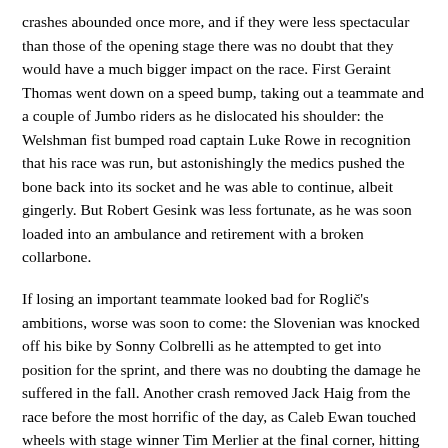crashes abounded once more, and if they were less spectacular than those of the opening stage there was no doubt that they would have a much bigger impact on the race. First Geraint Thomas went down on a speed bump, taking out a teammate and a couple of Jumbo riders as he dislocated his shoulder: the Welshman fist bumped road captain Luke Rowe in recognition that his race was run, but astonishingly the medics pushed the bone back into its socket and he was able to continue, albeit gingerly. But Robert Gesink was less fortunate, as he was soon loaded into an ambulance and retirement with a broken collarbone.
If losing an important teammate looked bad for Roglič's ambitions, worse was soon to come: the Slovenian was knocked off his bike by Sonny Colbrelli as he attempted to get into position for the sprint, and there was no doubting the damage he suffered in the fall. Another crash removed Jack Haig from the race before the most horrific of the day, as Caleb Ewan touched wheels with stage winner Tim Merlier at the final corner, hitting the deck violently and removing Peter Sagan from the sprint as he did so. The Australian's kit (and skin) was shredded as the ambulance took him to the hospital to treat his injuries, leaving everyone thinking more about the best sprinter in the